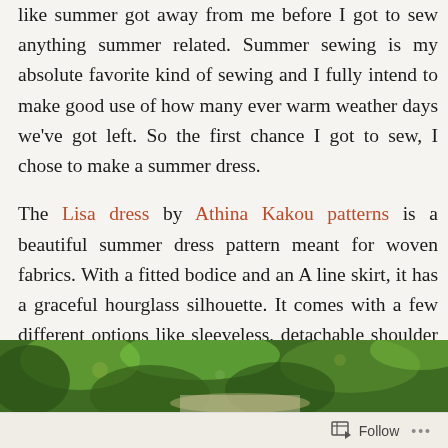like summer got away from me before I got to sew anything summer related. Summer sewing is my absolute favorite kind of sewing and I fully intend to make good use of how many ever warm weather days we've got left. So the first chance I got to sew, I chose to make a summer dress.
The Lisa dress by Athina Kakou patterns is a beautiful summer dress pattern meant for woven fabrics. With a fitted bodice and an A line skirt, it has a graceful hourglass silhouette. It comes with a few different options like sleeveless, detachable shoulder ties and scalloped ruffle sleeves like the one I made.
[Figure (photo): Outdoor photo showing green foliage and trees, partial view at bottom of page]
Follow ...